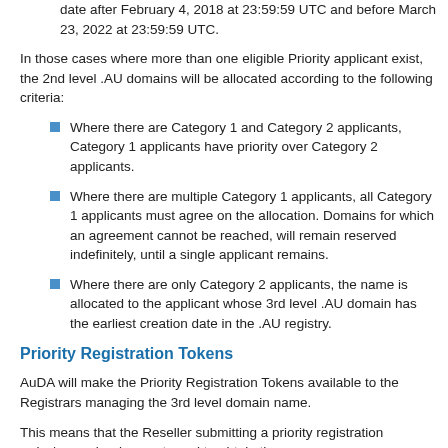date after February 4, 2018 at 23:59:59 UTC and before March 23, 2022 at 23:59:59 UTC.
In those cases where more than one eligible Priority applicant exist, the 2nd level .AU domains will be allocated according to the following criteria:
Where there are Category 1 and Category 2 applicants, Category 1 applicants have priority over Category 2 applicants.
Where there are multiple Category 1 applicants, all Category 1 applicants must agree on the allocation. Domains for which an agreement cannot be reached, will remain reserved indefinitely, until a single applicant remains.
Where there are only Category 2 applicants, the name is allocated to the applicant whose 3rd level .AU domain has the earliest creation date in the .AU registry.
Priority Registration Tokens
AuDA will make the Priority Registration Tokens available to the Registrars managing the 3rd level domain name.
This means that the Reseller submitting a priority registration order/pre-order does not need to obtain the